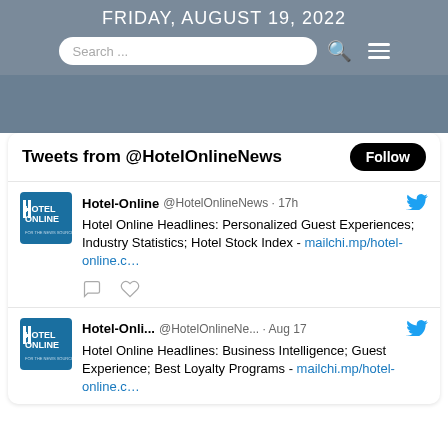FRIDAY, AUGUST 19, 2022
Search ...
Tweets from @HotelOnlineNews
Hotel-Online @HotelOnlineNews · 17h
Hotel Online Headlines: Personalized Guest Experiences; Industry Statistics; Hotel Stock Index - mailchi.mp/hotel-online.c…
Hotel-Onli... @HotelOnlineNe... · Aug 17
Hotel Online Headlines: Business Intelligence; Guest Experience; Best Loyalty Programs -
mailchi.mp/hotel-online.c…